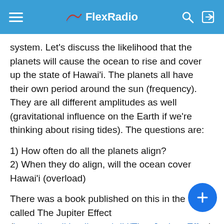FlexRadio
system.  Let's discuss the likelihood that the planets will cause the ocean to rise and cover up the state of Hawai'i. The planets all have their own period around the sun (frequency).  They are all different amplitudes as well (gravitational influence on the Earth if we're thinking about rising tides).  The questions are:
1) How often do all the planets align?
2) When they do align, will the ocean cover Hawai'i (overload)
There was a book published on this in the 70's called The Jupiter Effect (https://en.wikipedia.org/wiki/The_Jupiter_Effect) h proclaimed death and destruction when this wa occur.  The book was, of course, proved wrong but not before it became a bestseller.  First, the planets almost